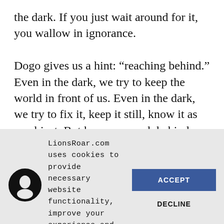the dark. If you just wait around for it, you wallow in ignorance.
Dogo gives us a hint: “reaching behind.” Even in the dark, we try to keep the world in front of us. Even in the dark, we try to fix it, keep it still, know it as an object. But here, we reach behind. We step
LionsRoar.com uses cookies to provide necessary website functionality, improve your experience and analyze our traffic. By using our website, you agree to our Privacy Policy and our cookies usage.
ACCEPT
DECLINE